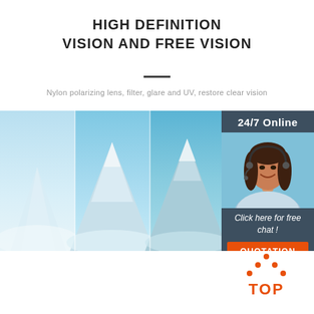HIGH DEFINITION VISION AND FREE VISION
Nylon polarizing lens, filter, glare and UV, restore clear vision
[Figure (photo): Mountain (Mt. Fuji) landscape shown in three panels with varying polarization filter effects, blue sky and snow-capped peak]
[Figure (infographic): Customer service sidebar with dark gray background showing '24/7 Online' header, photo of smiling woman with headset, 'Click here for free chat!' text, and orange QUOTATION button]
[Figure (logo): TOP logo with orange dots arranged in a house/mountain shape above the word TOP in orange]